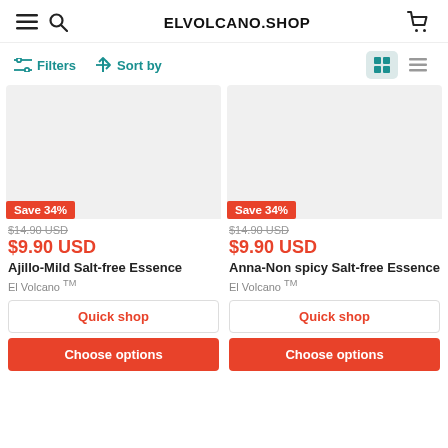ELVOLCANO.SHOP
Filters  Sort by
[Figure (screenshot): Product card 1: Ajillo-Mild Salt-free Essence, Save 34%, $14.90 USD original, $9.90 USD sale, Quick shop, Choose options]
[Figure (screenshot): Product card 2: Anna-Non spicy Salt-free Essence, Save 34%, $14.90 USD original, $9.90 USD sale, Quick shop, Choose options]